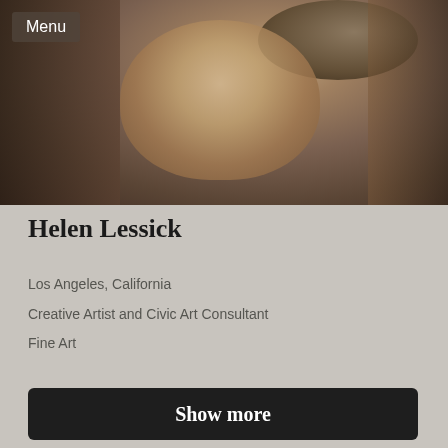[Figure (photo): Sepia-toned close-up photograph of a woman smiling, wearing a hat, with a blurred background]
Menu
Helen Lessick
Los Angeles, California
Creative Artist and Civic Art Consultant
Fine Art
Show more